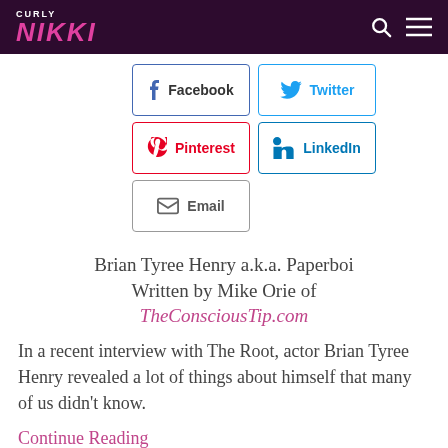CURLY NIKKI
[Figure (infographic): Social share buttons: Facebook, Twitter, Pinterest, LinkedIn, Email]
Brian Tyree Henry a.k.a. Paperboi
Written by Mike Orie of
TheConsciousTip.com
In a recent interview with The Root, actor Brian Tyree Henry revealed a lot of things about himself that many of us didn't know.
Continue Reading